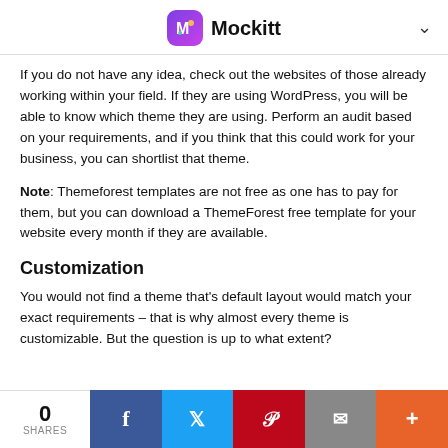Mockitt
If you do not have any idea, check out the websites of those already working within your field. If they are using WordPress, you will be able to know which theme they are using. Perform an audit based on your requirements, and if you think that this could work for your business, you can shortlist that theme.
Note: Themeforest templates are not free as one has to pay for them, but you can download a ThemeForest free template for your website every month if they are available.
Customization
You would not find a theme that's default layout would match your exact requirements – that is why almost every theme is customizable. But the question is up to what extent?
0 SHARES | Facebook | Twitter | Pinterest | Email | +